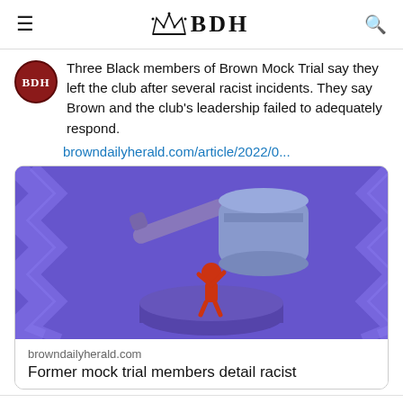BDH
Three Black members of Brown Mock Trial say they left the club after several racist incidents. They say Brown and the club's leadership failed to adequately respond.
browndailyherald.com/article/2022/0...
[Figure (illustration): Illustration of a large judge's gavel coming down on a small red human figure standing on a wooden block, set against a purple zigzag background.]
browndailyherald.com
Former mock trial members detail racist